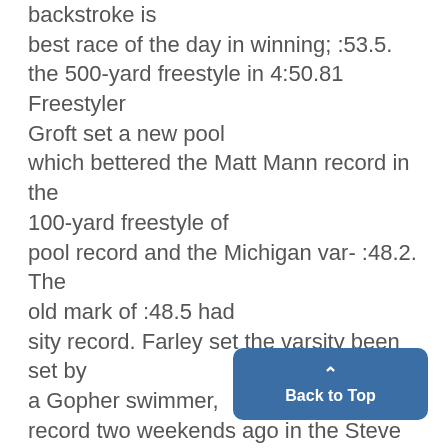backstroke is best race of the day in winning; :53.5. the 500-yard freestyle in 4:50.81 Freestyler Groft set a new pool which bettered the Matt Mann record in the 100-yard freestyle of pool record and the Michigan var- :48.2. The old mark of :48.5 had sity record. Farley set the varsity been set by a Gopher swimmer, record two weekends ago in the Steve Jackman, in 1963. Michigan State meet with a tim Wolverines captured first
Back to Top